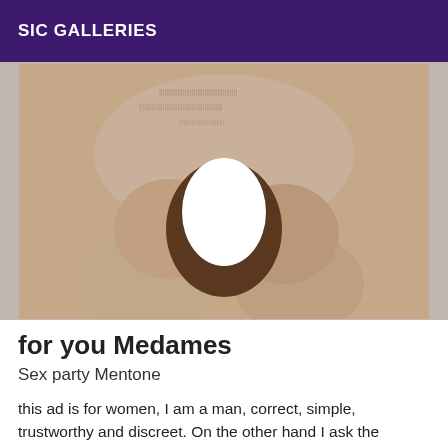SIC GALLERIES
[Figure (photo): A person holding a dark oval object with a white elliptical center, photographed from the torso down against a neutral background.]
for you Medames
Sex party Mentone
this ad is for women, I am a man, correct, simple, trustworthy and discreet. On the other hand I ask the